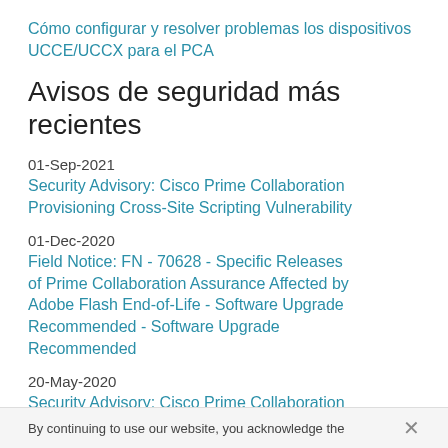Cómo configurar y resolver problemas los dispositivos UCCE/UCCX para el PCA
Avisos de seguridad más recientes
01-Sep-2021
Security Advisory: Cisco Prime Collaboration Provisioning Cross-Site Scripting Vulnerability
01-Dec-2020
Field Notice: FN - 70628 - Specific Releases of Prime Collaboration Assurance Affected by Adobe Flash End-of-Life - Software Upgrade Recommended - Software Upgrade Recommended
20-May-2020
Security Advisory: Cisco Prime Collaboration Provisioning Software SQL Injection Vulnerability
03-May-2020
By continuing to use our website, you acknowledge the